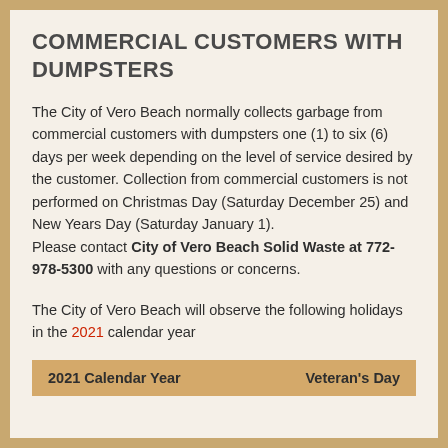COMMERCIAL CUSTOMERS WITH DUMPSTERS
The City of Vero Beach normally collects garbage from commercial customers with dumpsters one (1) to six (6) days per week depending on the level of service desired by the customer. Collection from commercial customers is not performed on Christmas Day (Saturday December 25) and New Years Day (Saturday January 1). Please contact City of Vero Beach Solid Waste at 772-978-5300 with any questions or concerns.
The City of Vero Beach will observe the following holidays in the 2021 calendar year
| 2021 Calendar Year | Veteran's Day |
| --- | --- |